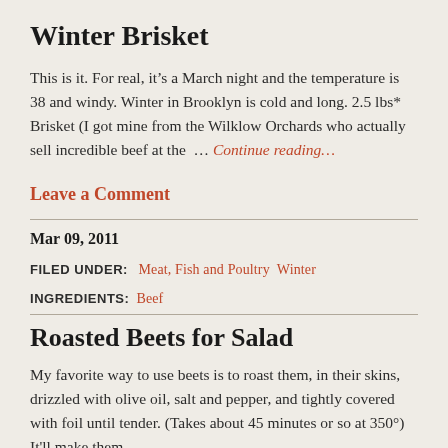Winter Brisket
This is it. For real, it’s a March night and the temperature is 38 and windy. Winter in Brooklyn is cold and long. 2.5 lbs* Brisket (I got mine from the Wilklow Orchards who actually sell incredible beef at the … Continue reading…
Leave a Comment
Mar 09, 2011
FILED UNDER:   Meat, Fish and Poultry  Winter
INGREDIENTS:  Beef
Roasted Beets for Salad
My favorite way to use beets is to roast them, in their skins, drizzled with olive oil, salt and pepper, and tightly covered with foil until tender. (Takes about 45 minutes or so at 350°). It’ll make them...